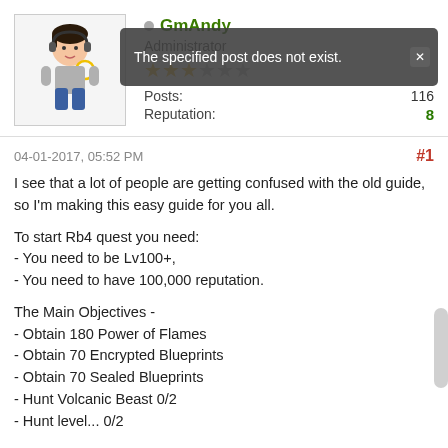[Figure (illustration): Forum user avatar: cartoon character with headphones, gray shirt, blue pants]
GmAndy
Administrator
★★★☆☆☆
Posts: 116
Reputation: 8
The specified post does not exist.
04-01-2017, 05:52 PM
#1
I see that a lot of people are getting confused with the old guide, so I'm making this easy guide for you all.
To start Rb4 quest you need:
- You need to be Lv100+,
- You need to have 100,000 reputation.
The Main Objectives -
- Obtain 180 Power of Flames
- Obtain 70 Encrypted Blueprints
- Obtain 70 Sealed Blueprints
- Hunt Volcanic Beast 0/2
- Hunt level... 0/2